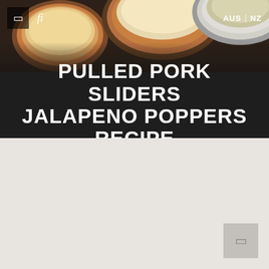[Figure (photo): Food photography showing spice bowls with brown/tan spices on a dark wooden surface, viewed from above. Navigation bar overlaid with icons and AUS | NZ locale switcher.]
PULLED PORK SLIDERS JALAPENO POPPERS RECIPE